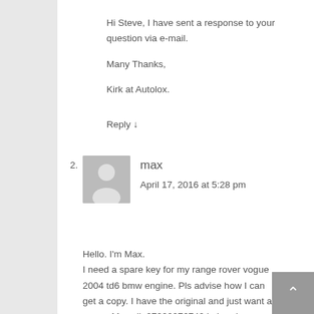Hi Steve, I have sent a response to your question via e-mail.

Many Thanks,

Kirk at Autolox.
Reply ↓
2.
max
April 17, 2016 at 5:28 pm
Hello. I'm Max.
I need a spare key for my range rover vogue 2004 td6 bmw engine. Pls advise how I can get a copy. I have the original and just want a spare. My cell: 07990976740 in London.